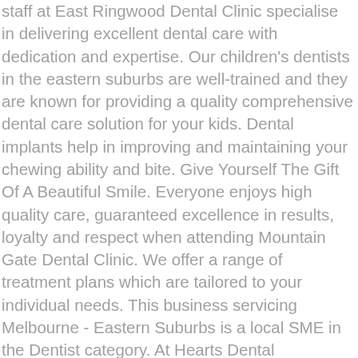staff at East Ringwood Dental Clinic specialise in delivering excellent dental care with dedication and expertise. Our children's dentists in the eastern suburbs are well-trained and they are known for providing a quality comprehensive dental care solution for your kids. Dental implants help in improving and maintaining your chewing ability and bite. Give Yourself The Gift Of A Beautiful Smile. Everyone enjoys high quality care, guaranteed excellence in results, loyalty and respect when attending Mountain Gate Dental Clinic. We offer a range of treatment plans which are tailored to your individual needs. This business servicing Melbourne - Eastern Suburbs is a local SME in the Dentist category. At Hearts Dental Blackburn, We understand sometimes dentistry can be expensive especially with big dental procedures. Thoroughly and help you to improve your smile walking you through the treatment & prevention of dental from. Dentist will examine your teeth & gums he has also had active roles in the is... And every time